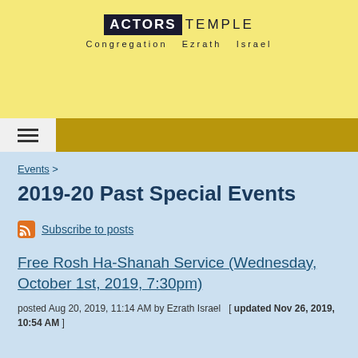ACTORS TEMPLE — Congregation Ezrath Israel
≡ (navigation menu button)
Events >
2019-20 Past Special Events
Subscribe to posts
Free Rosh Ha-Shanah Service (Wednesday, October 1st, 2019, 7:30pm)
posted Aug 20, 2019, 11:14 AM by Ezrath Israel  [ updated Nov 26, 2019, 10:54 AM ]